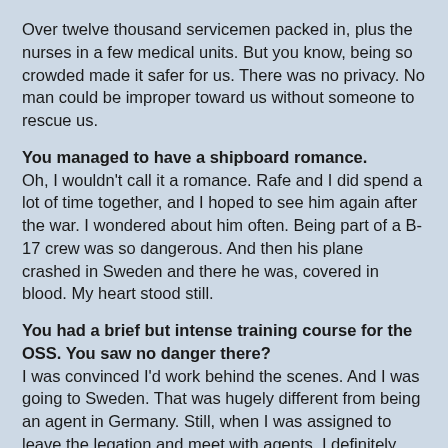Over twelve thousand servicemen packed in, plus the nurses in a few medical units. But you know, being so crowded made it safer for us. There was no privacy. No man could be improper toward us without someone to rescue us.
You managed to have a shipboard romance.
Oh, I wouldn't call it a romance. Rafe and I did spend a lot of time together, and I hoped to see him again after the war. I wondered about him often. Being part of a B-17 crew was so dangerous. And then his plane crashed in Sweden and there he was, covered in blood. My heart stood still.
You had a brief but intense training course for the OSS. You saw no danger there?
I was convinced I'd work behind the scenes. And I was going to Sweden. That was hugely different from being an agent in Germany. Still, when I was assigned to leave the legation and meet with agents, I definitely had qualms. Not until Rafe joined me did I start to enjoy our outings. They could still be nerve-wracking, but Rafe made it fun. Of course, as a former German national, the war was very personal for him.